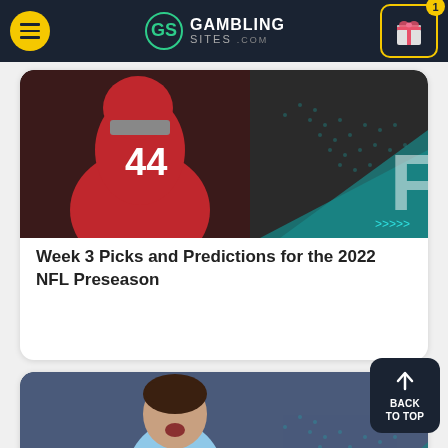GambingSites.com navigation header
[Figure (screenshot): NFL player wearing red jersey #44 catching a football, with teal graphic overlay and arrows pointing right. Card for 'Week 3 Picks and Predictions for the 2022 NFL Preseason']
Week 3 Picks and Predictions for the 2022 NFL Preseason
[Figure (screenshot): Soccer player in light blue NYCFC/Etihad jersey celebrating with mouth open, with teal graphic overlay and arrows pointing right. Card for 'Top Major League Soccer Picks – Saturday, August 20, 2022']
Top Major League Soccer Picks – Saturday, August 20, 2022